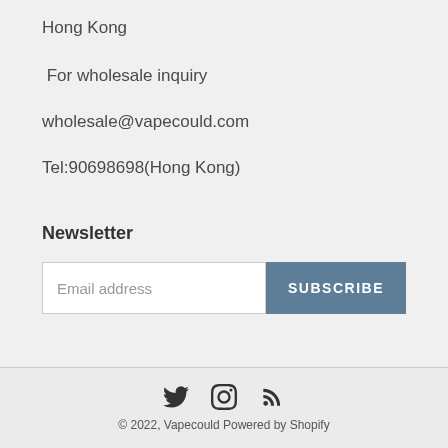Hong Kong
For wholesale inquiry
wholesale@vapecould.com
Tel:90698698(Hong Kong)
Newsletter
[Figure (other): Email address input field with SUBSCRIBE button]
© 2022, Vapecould Powered by Shopify